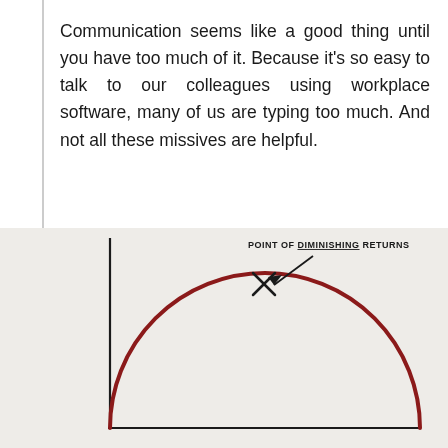Communication seems like a good thing until you have too much of it. Because it's so easy to talk to our colleagues using workplace software, many of us are typing too much. And not all these missives are helpful.
[Figure (continuous-plot): Hand-drawn style chart showing an inverted U-curve (semicircle) in dark red/maroon on a light beige background. The y-axis is labeled 'PRODUCTIVITY' in handwritten capitals. There is an X mark near the top of the curve with an arrow pointing to it labeled 'POINT OF DIMINISHING RETURNS' (with DIMINISHING underlined). The x-axis is a horizontal black line at the bottom.]